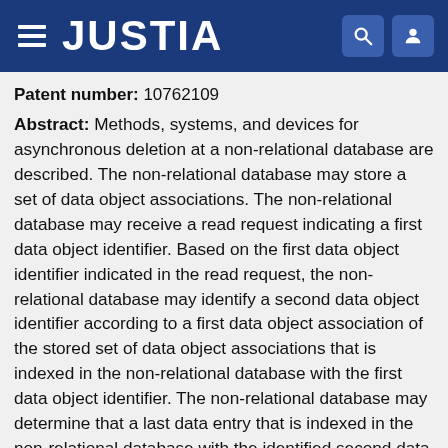JUSTIA
Patent number: 10762109
Abstract: Methods, systems, and devices for asynchronous deletion at a non-relational database are described. The non-relational database may store a set of data object associations. The non-relational database may receive a read request indicating a first data object identifier. Based on the first data object identifier indicated in the read request, the non-relational database may identify a second data object identifier according to a first data object association of the stored set of data object associations that is indexed in the non-relational database with the first data object identifier. The non-relational database may determine that a last data entry that is indexed in the non-relational database with the identified second data object identifier and is associated with the first data object identifier has been deleted from the non-